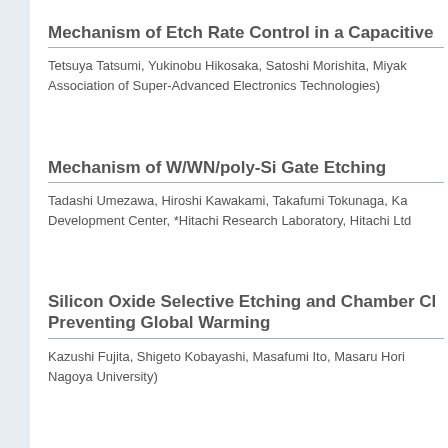Mechanism of Etch Rate Control in a Capacitive
Tetsuya Tatsumi, Yukinobu Hikosaka, Satoshi Morishita, Miyak Association of Super-Advanced Electronics Technologies)
Mechanism of W/WN/poly-Si Gate Etching
Tadashi Umezawa, Hiroshi Kawakami, Takafumi Tokunaga, Ka Development Center, *Hitachi Research Laboratory, Hitachi Ltd
Silicon Oxide Selective Etching and Chamber Cl Preventing Global Warming
Kazushi Fujita, Shigeto Kobayashi, Masafumi Ito, Masaru Hori Nagoya University)